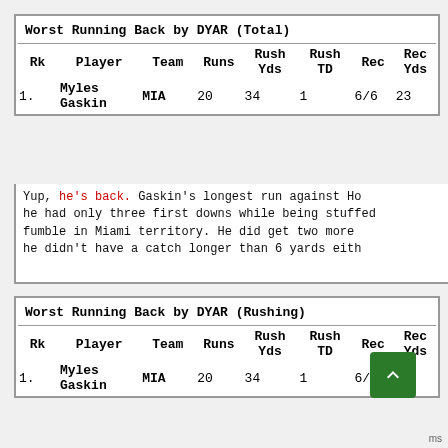| Rk | Player | Team | Runs | Rush Yds | Rush TD | Rec | Rec Yds |
| --- | --- | --- | --- | --- | --- | --- | --- |
| 1. | Myles Gaskin | MIA | 20 | 34 | 1 | 6/6 | 23 |
Yup, he's back. Gaskin's longest run against Ho he had only three first downs while being stuffed fumble in Miami territory. He did get two more he didn't have a catch longer than 6 yards eith
| Rk | Player | Team | Runs | Rush Yds | Rush TD | Rec | Rec Yds |
| --- | --- | --- | --- | --- | --- | --- | --- |
| 1. | Myles Gaskin | MIA | 20 | 34 | 1 | 6/6 | 23 |